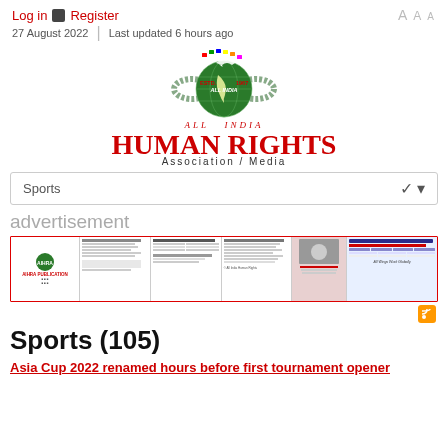Log in  Register   27 August 2022  |  Last updated 6 hours ago
[Figure (logo): All India Human Rights Association / Media logo with globe, dove, flags, and red text reading ESTD. 1967 ALL INDIA HUMAN RIGHTS Association / Media]
Sports ˅
advertisement
[Figure (screenshot): Advertisement image strip showing AIHRA publication pages and tables with colorful layouts]
Sports (105)
Asia Cup 2022 renamed hours before first tournament opener